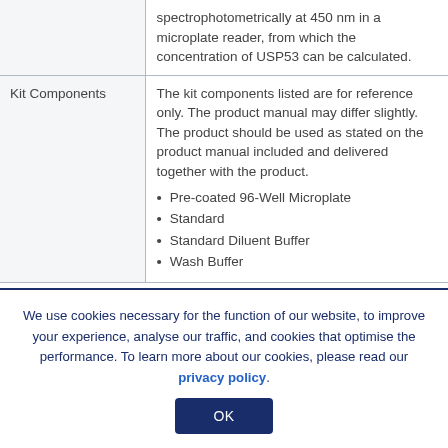|  |  |
| --- | --- |
|  | spectrophotometrically at 450 nm in a microplate reader, from which the concentration of USP53 can be calculated. |
| Kit Components | The kit components listed are for reference only. The product manual may differ slightly. The product should be used as stated on the product manual included and delivered together with the product.
• Pre-coated 96-Well Microplate
• Standard
• Standard Diluent Buffer
• Wash Buffer |
We use cookies necessary for the function of our website, to improve your experience, analyse our traffic, and cookies that optimise the performance. To learn more about our cookies, please read our privacy policy.